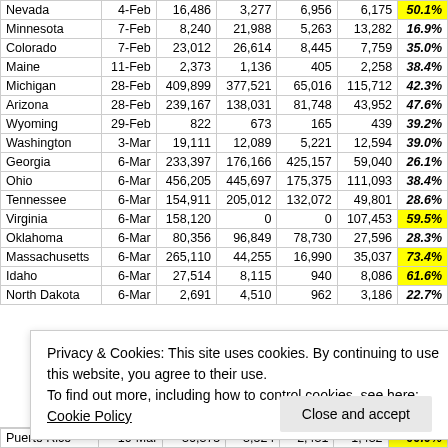| State | Date | Col3 | Col4 | Col5 | Col6 | % |
| --- | --- | --- | --- | --- | --- | --- |
| Nevada | 4-Feb | 16,486 | 3,277 | 6,956 | 6,175 | 50.1% |
| Minnesota | 7-Feb | 8,240 | 21,988 | 5,263 | 13,282 | 16.9% |
| Colorado | 7-Feb | 23,012 | 26,614 | 8,445 | 7,759 | 35.0% |
| Maine | 11-Feb | 2,373 | 1,136 | 405 | 2,258 | 38.4% |
| Michigan | 28-Feb | 409,899 | 377,521 | 65,016 | 115,712 | 42.3% |
| Arizona | 28-Feb | 239,167 | 138,031 | 81,748 | 43,952 | 47.6% |
| Wyoming | 29-Feb | 822 | 673 | 165 | 439 | 39.2% |
| Washington | 3-Mar | 19,111 | 12,089 | 5,221 | 12,594 | 39.0% |
| Georgia | 6-Mar | 233,397 | 176,166 | 425,157 | 59,040 | 26.1% |
| Ohio | 6-Mar | 456,205 | 445,697 | 175,375 | 111,093 | 38.4% |
| Tennessee | 6-Mar | 154,911 | 205,012 | 132,072 | 49,801 | 28.6% |
| Virginia | 6-Mar | 158,120 | 0 | 0 | 107,453 | 59.5% |
| Oklahoma | 6-Mar | 80,356 | 96,849 | 78,730 | 27,596 | 28.3% |
| Massachusetts | 6-Mar | 265,110 | 44,255 | 16,990 | 35,037 | 73.4% |
| Idaho | 6-Mar | 27,514 | 8,115 | 940 | 8,086 | 61.6% |
| North Dakota | 6-Mar | 2,691 | 4,510 | 962 | 3,186 | 22.7% |
Privacy & Cookies: This site uses cookies. By continuing to use this website, you agree to their use.
To find out more, including how to control cookies, see here: Cookie Policy
| State | Date | Col3 | Col4 | Col5 | Col6 | % |
| --- | --- | --- | --- | --- | --- | --- |
| Puerto Rico | 10-Mar | 36,375 | 3,524 | 2,431 | 1,432 | 00.0% |